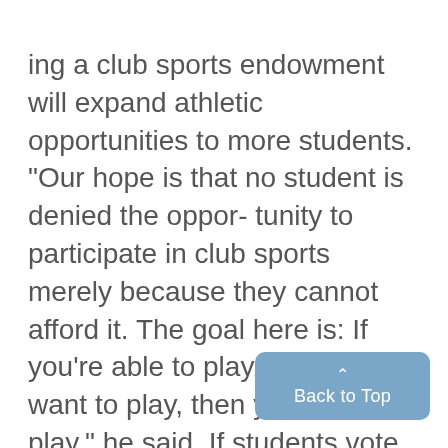ing a club sports endowment will expand athletic opportunities to more students. "Our hope is that no student is denied the oppor- tunity to participate in club sports merely because they cannot afford it. The goal here is: If you're able to play, and you want to play, then you get to play," he said. If students vote to support the ballot initiative, Roe